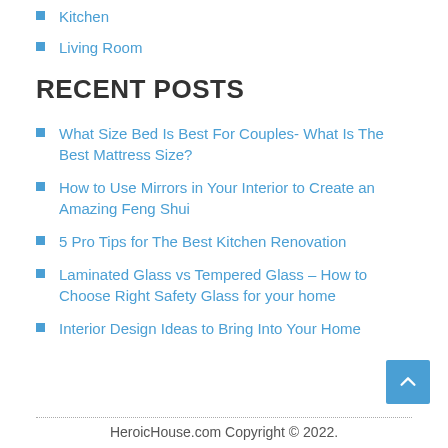Kitchen
Living Room
RECENT POSTS
What Size Bed Is Best For Couples- What Is The Best Mattress Size?
How to Use Mirrors in Your Interior to Create an Amazing Feng Shui
5 Pro Tips for The Best Kitchen Renovation
Laminated Glass vs Tempered Glass – How to Choose Right Safety Glass for your home
Interior Design Ideas to Bring Into Your Home
HeroicHouse.com Copyright © 2022.